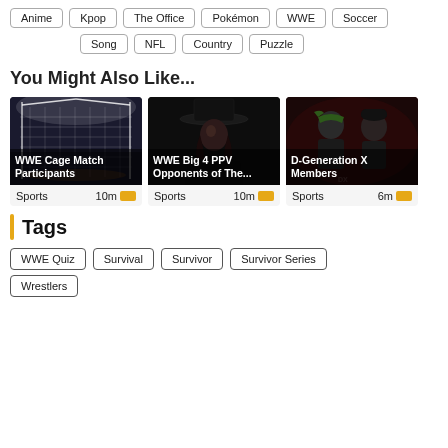Anime
Kpop
The Office
Pokémon
WWE
Soccer
Song
NFL
Country
Puzzle
You Might Also Like...
[Figure (photo): WWE steel cage match arena at night]
WWE Cage Match Participants
Sports  10m
[Figure (photo): The Undertaker in black hat and coat on dark background]
WWE Big 4 PPV Opponents of The...
Sports  10m
[Figure (photo): D-Generation X members in green bandanas]
D-Generation X Members
Sports  6m
Tags
WWE Quiz
Survival
Survivor
Survivor Series
Wrestlers